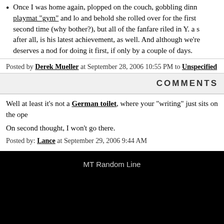Once I was home again, plopped on the couch, gobbling dinner watching her on the playmat "gym" and lo and behold she rolled over for the first time! She hasn't done it a second time (why bother?), but all of the fanfare riled in Y. a s after all, is his latest achievement, as well. And although we're deserves a nod for doing it first, if only by a couple of days.
Posted by Derek Mueller at September 28, 2006 10:55 PM to Unspecified
COMMENTS
Well at least it's not a German toilet, where your "writing" just sits on the open
On second thought, I won't go there.
Posted by: Lance at September 29, 2006 9:44 AM
MT Random Line